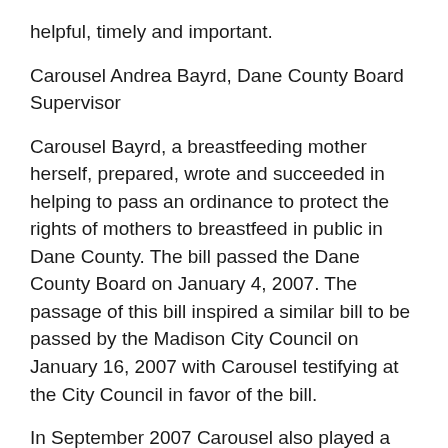helpful, timely and important.
Carousel Andrea Bayrd, Dane County Board Supervisor
Carousel Bayrd, a breastfeeding mother herself, prepared, wrote and succeeded in helping to pass an ordinance to protect the rights of mothers to breastfeed in public in Dane County. The bill passed the Dane County Board on January 4, 2007. The passage of this bill inspired a similar bill to be passed by the Madison City Council on January 16, 2007 with Carousel testifying at the City Council in favor of the bill.
In September 2007 Carousel also played a vital role in passing an ordinance that allowed Dane County employees to extend Family Leave to 26 weeks of unpaid family leave for parents of newly born or newly adopted children.